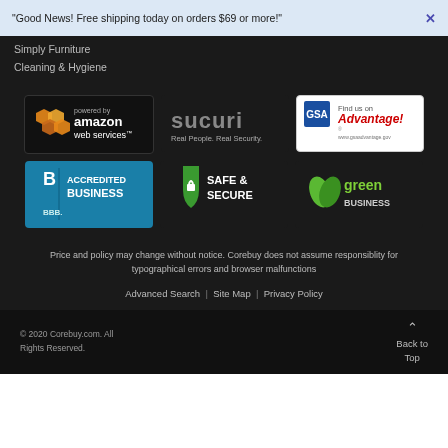"Good News! Free shipping today on orders $69 or more!"  X
Simply Furniture
Cleaning & Hygiene
[Figure (logo): Powered by Amazon Web Services logo]
[Figure (logo): Sucuri - Real People. Real Security. logo]
[Figure (logo): GSA Advantage! - Find us on badge]
[Figure (logo): BBB Accredited Business badge]
[Figure (logo): Safe & Secure badge]
[Figure (logo): Green Business badge]
Price and policy may change without notice. Corebuy does not assume responsiblity for typographical errors and browser malfunctions
Advanced Search  |  Site Map  |  Privacy Policy
© 2020 Corebuy.com. All Rights Reserved.
Back to Top